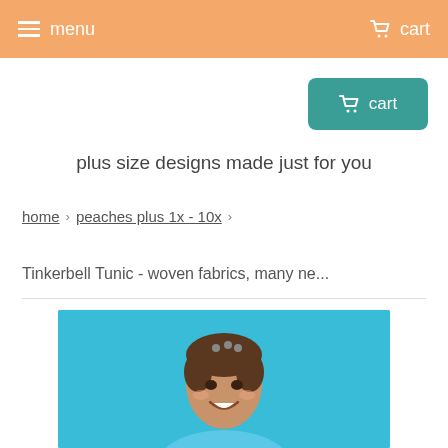menu   cart
cart
plus size designs made just for you
home › peaches plus 1x - 10x ›
Tinkerbell Tunic - woven fabrics, many ne...
[Figure (photo): Woman smiling against a bright blue/teal background, visible from shoulders up, wearing a light blue top.]